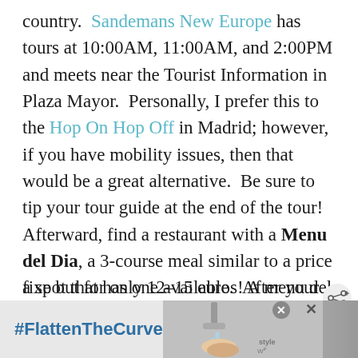country. Sandemans New Europe has tours at 10:00AM, 11:00AM, and 2:00PM and meets near the Tourist Information in Plaza Mayor. Personally, I prefer this to the Hop On Hop Off in Madrid; however, if you have mobility issues, then that would be a great alternative. Be sure to tip your tour guide at the end of the tour! Afterward, find a restaurant with a Menu del Dia, a 3-course meal similar to a price fixe but for only 12-15 euros! A menu del dia is a traditional Spanish lunch, so it won't be difficult to find a spot that has one available. After your
[Figure (other): Advertisement banner at bottom of page showing #FlattenTheCurve hashtag with an image of hands washing under a faucet, with close and share buttons.]